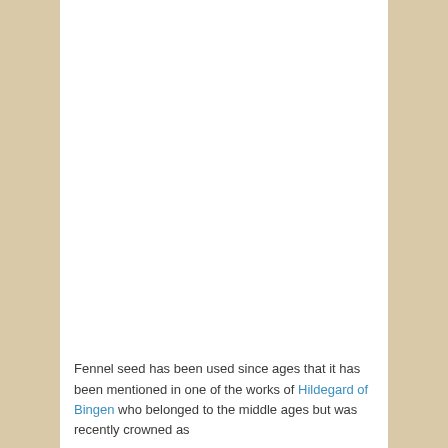Fennel seed has been used since ages that it has been mentioned in one of the works of Hildegard of Bingen who belonged to the middle ages but was recently crowned as